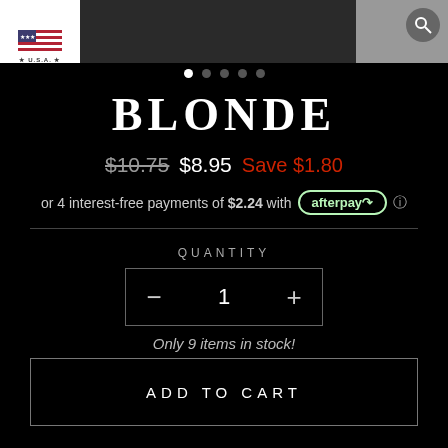[Figure (screenshot): Product image strip showing USA flag label on left, dark product image center, with search icon on right]
[Figure (other): Carousel dots indicator: 5 dots, first dot active (white)]
BLONDE
$10.75  $8.95  Save $1.80
or 4 interest-free payments of $2.24 with afterpay ⓘ
QUANTITY
— 1 +
Only 9 items in stock!
ADD TO CART